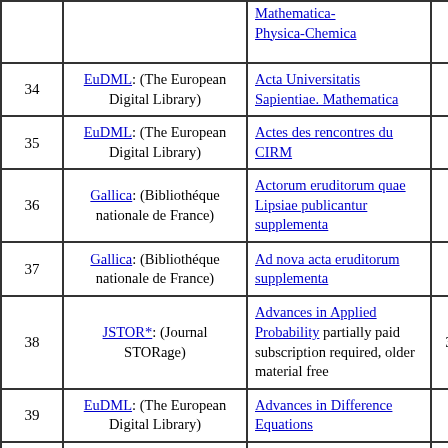| # | Source | Journal/Title | ISSN | Years |
| --- | --- | --- | --- | --- |
|  |  | Mathematica-Physica-Chemica |  |  |
| 34 | EuDML: (The European Digital Library) | Acta Universitatis Sapientiae. Mathematica |  | 20... |
| 35 | EuDML: (The European Digital Library) | Actes des rencontres du CIRM |  | 2009- |
| 36 | Gallica: (Bibliothéque nationale de France) | Actorum eruditorum quae Lipsiae publicantur supplementa |  | 1711- |
| 37 | Gallica: (Bibliothéque nationale de France) | Ad nova acta eruditorum supplementa |  | 1745, 17 |
| 38 | JSTOR*: (Journal STORage) | Advances in Applied Probability partially paid subscription required, older material free | 31950 | 1969- |
| 39 | EuDML: (The European Digital Library) | Advances in Difference Equations |  | 2004- |
| 40 | EuDML: (The European Digital Library) | Advances in Geometry |  | 2001- |